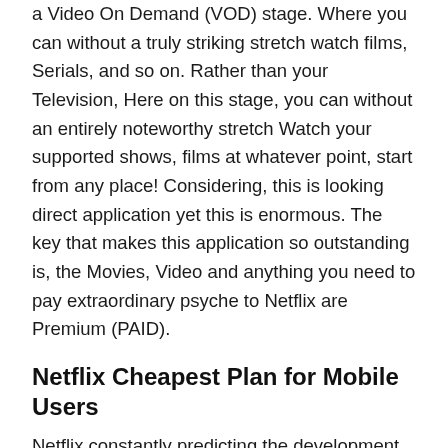a Video On Demand (VOD) stage. Where you can without a truly striking stretch watch films, Serials, and so on. Rather than your Television, Here on this stage, you can without an entirely noteworthy stretch Watch your supported shows, films at whatever point, start from any place! Considering, this is looking direct application yet this is enormous. The key that makes this application so outstanding is, the Movies, Video and anything you need to pay extraordinary psyche to Netflix are Premium (PAID).
Netflix Cheapest Plan for Mobile Users
Netflix constantly predicting the development of its clients in a nation like India. It is damn plainly obvious, premium ceaseless features are not doing satisfactory in India and Netflix is certainly not an extraordinary case too. Be that as it may, they continue testing new things and plans which will draw in different Indian clients. Before long they are thought